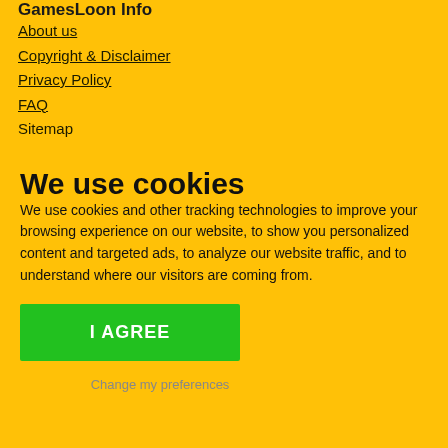GamesLoon Info
About us
Copyright & Disclaimer
Privacy Policy
FAQ
Sitemap
We use cookies
We use cookies and other tracking technologies to improve your browsing experience on our website, to show you personalized content and targeted ads, to analyze our website traffic, and to understand where our visitors are coming from.
I AGREE
Change my preferences